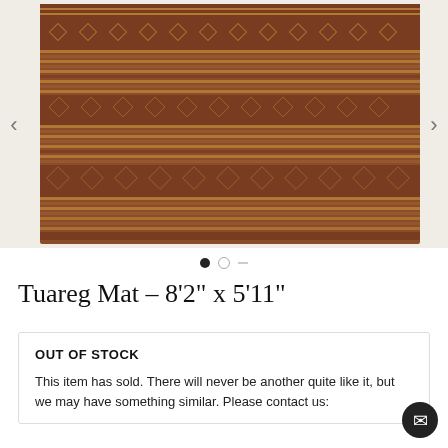[Figure (photo): A woven Tuareg mat with horizontal stripes and repeating diamond/geometric patterns in shades of brown, rust, and golden tan. The mat is photographed laid flat against a white background.]
Tuareg Mat – 8'2" x 5'11"
OUT OF STOCK
This item has sold. There will never be another quite like it, but we may have something similar. Please contact us: